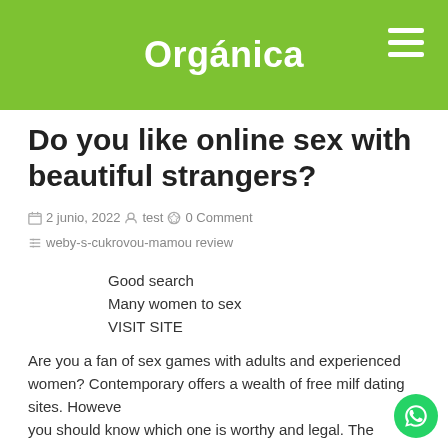Orgánica
Do you like online sex with beautiful strangers?
2 junio, 2022  test  0 Comment  weby-s-cukrovou-mamou review
Good search
Many women to sex
VISIT SITE
Are you a fan of sex games with adults and experienced women? Contemporary offers a wealth of free milf dating sites. However, you should know which one is worthy and legal. The SponSout